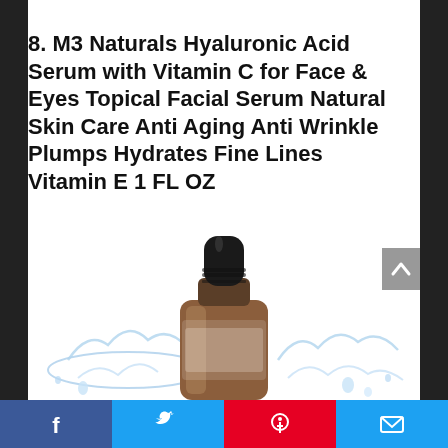8. M3 Naturals Hyaluronic Acid Serum with Vitamin C for Face & Eyes Topical Facial Serum Natural Skin Care Anti Aging Anti Wrinkle Plumps Hydrates Fine Lines Vitamin E 1 FL OZ
[Figure (photo): Amber dropper bottle of M3 Naturals Hyaluronic Acid Serum with water splash effect around it, on white background.]
Facebook | Twitter | Pinterest | Email